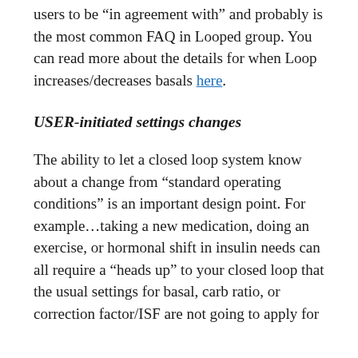users to be “in agreement with” and probably is the most common FAQ in Looped group. You can read more about the details for when Loop increases/decreases basals here.
USER-initiated settings changes
The ability to let a closed loop system know about a change from “standard operating conditions” is an important design point. For example…taking a new medication, doing an exercise, or hormonal shift in insulin needs can all require a “heads up” to your closed loop that the usual settings for basal, carb ratio, or correction factor/ISF are not going to apply for